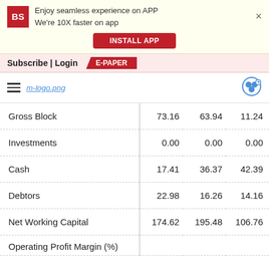Enjoy seamless experience on APP
We're 10X faster on app
INSTALL APP
Subscribe | Login   E-PAPER
m-logo.png
|  |  |  |  |
| --- | --- | --- | --- |
| Gross Block | 73.16 | 63.94 | 11.24 |
| Investments | 0.00 | 0.00 | 0.00 |
| Cash | 17.41 | 36.37 | 42.39 |
| Debtors | 22.98 | 16.26 | 14.16 |
| Net Working Capital | 174.62 | 195.48 | 106.76 |
| Operating Profit Margin (%) | 31.05 | 36.16 | 31.17 |